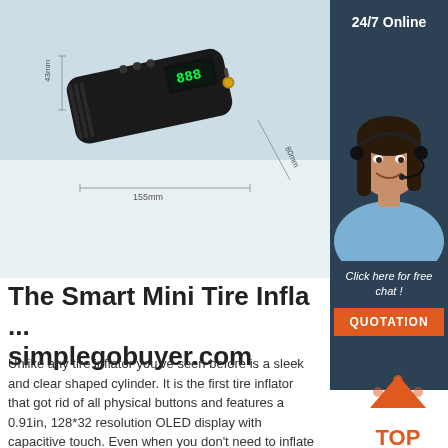[Figure (photo): Product photo of a black rectangular tire inflator device on light blue background with dimension annotations: 43mm width, 155mm length, 80mm depth]
[Figure (photo): 24/7 Online sidebar with a customer service agent (woman with headset) and a 'Click here for free chat!' button and QUOTATION orange button]
The Smart Mini Tire Infla... simplegobuyer.com
Unlike any tire inflator you've seen before is a sleek and clear shaped cylinder. It is the first tire inflator that got rid of all physical buttons and features a 0.91in, 128*32 resolution OLED display with capacitive touch. Even when you don't need to inflate your tires, you can connect
[Figure (illustration): Orange and red TOP arrow/badge icon]